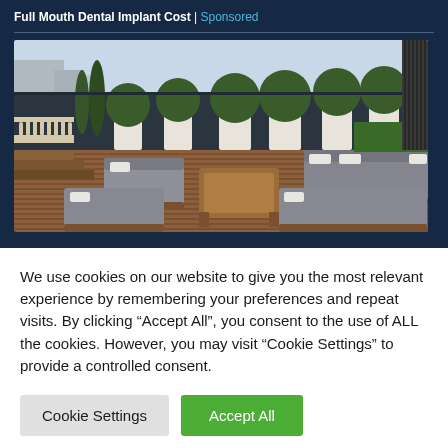Full Mouth Dental Implant Cost | Sponsored
[Figure (photo): Rooftop terrace with outdoor sectional sofas and lounge chairs made of wood and dark gray cushions, surrounded by large potted topiaries and ornamental plants on a wooden deck, with a white classical balustrade on the left side.]
We use cookies on our website to give you the most relevant experience by remembering your preferences and repeat visits. By clicking “Accept All”, you consent to the use of ALL the cookies. However, you may visit "Cookie Settings" to provide a controlled consent.
Cookie Settings
Accept All